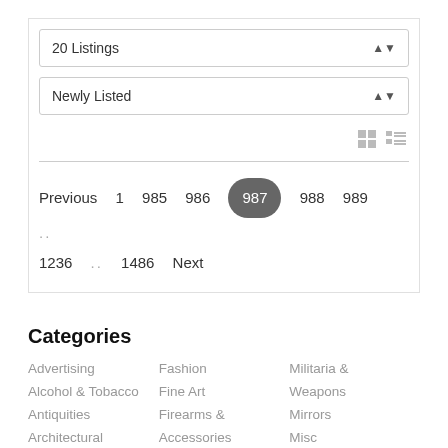20 Listings
Newly Listed
Previous  1  985  986  987  988  989  ..  1236  ..  1486  Next
Categories
Advertising
Alcohol & Tobacco
Antiquities
Architectural
Art
Fashion
Fine Art
Firearms & Accessories
Folk Art
Militaria & Weapons
Mirrors
Misc
Musical